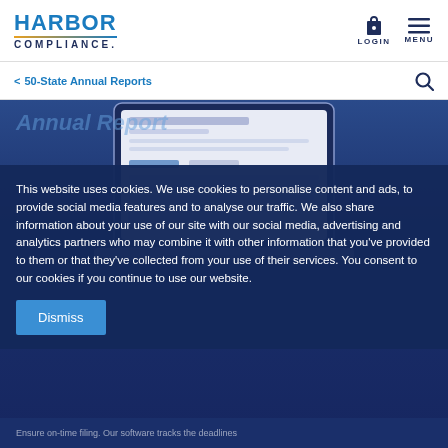HARBOR COMPLIANCE
< 50-State Annual Reports
[Figure (screenshot): Screenshot of a laptop displaying a Harbor Compliance annual report form, shown on a dark blue background hero image.]
This website uses cookies. We use cookies to personalise content and ads, to provide social media features and to analyse our traffic. We also share information about your use of our site with our social media, advertising and analytics partners who may combine it with other information that you've provided to them or that they've collected from your use of their services. You consent to our cookies if you continue to use our website.
Dismiss